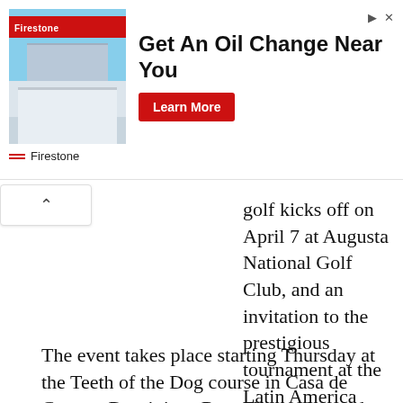[Figure (photo): Firestone advertisement banner showing a Firestone auto service building with blue sky background, headline 'Get An Oil Change Near You', a red 'Learn More' button, and the Firestone logo at the bottom left.]
golf kicks off on April 7 at Augusta National Golf Club, and an invitation to the prestigious tournament at the Latin America Amateur Championship is on the line this week.
The event takes place starting Thursday at the Teeth of the Dog course in Casa de Campo, Dominican Republic, and awards the winner a spot in the first major of the season.